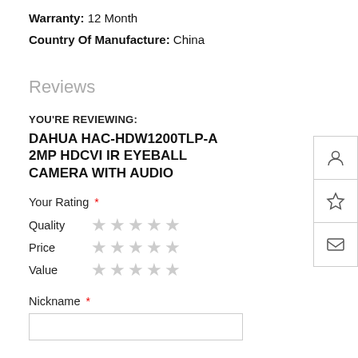Warranty: 12 Month
Country Of Manufacture: China
Reviews
YOU'RE REVIEWING:
DAHUA HAC-HDW1200TLP-A 2MP HDCVI IR EYEBALL CAMERA WITH AUDIO
Your Rating *
Quality ★★★★★
Price ★★★★★
Value ★★★★★
Nickname *